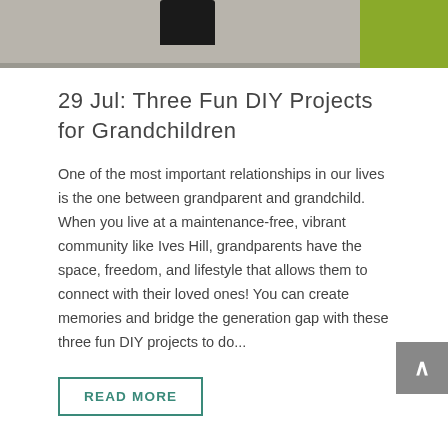[Figure (photo): Partial photo showing what appears to be a chair or furniture item with a green object (plant or cushion) in the upper right corner, on a light gray surface.]
29 Jul: Three Fun DIY Projects for Grandchildren
One of the most important relationships in our lives is the one between grandparent and grandchild. When you live at a maintenance-free, vibrant community like Ives Hill, grandparents have the space, freedom, and lifestyle that allows them to connect with their loved ones! You can create memories and bridge the generation gap with these three fun DIY projects to do...
READ MORE